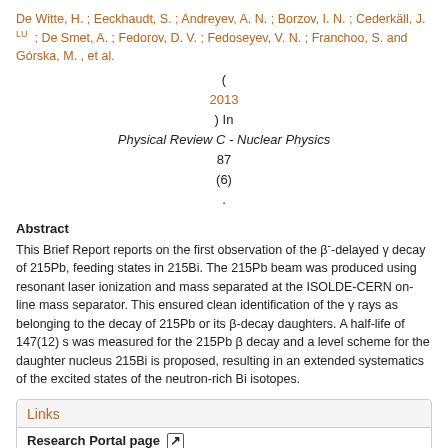De Witte, H. ; Eeckhaudt, S. ; Andreyev, A. N. ; Borzov, I. N. ; Cederkäll, J. LU ; De Smet, A. ; Fedorov, D. V. ; Fedoseyev, V. N. ; Franchoo, S. and Górska, M. , et al.
( 2013 ) In Physical Review C - Nuclear Physics 87 (6) .
Abstract
This Brief Report reports on the first observation of the β-delayed γ decay of 215Pb, feeding states in 215Bi. The 215Pb beam was produced using resonant laser ionization and mass separated at the ISOLDE-CERN on-line mass separator. This ensured clean identification of the γ rays as belonging to the decay of 215Pb or its β-decay daughters. A half-life of 147(12) s was measured for the 215Pb β decay and a level scheme for the daughter nucleus 215Bi is proposed, resulting in an extended systematics of the excited states of the neutron-rich Bi isotopes.
Links
Research Portal page